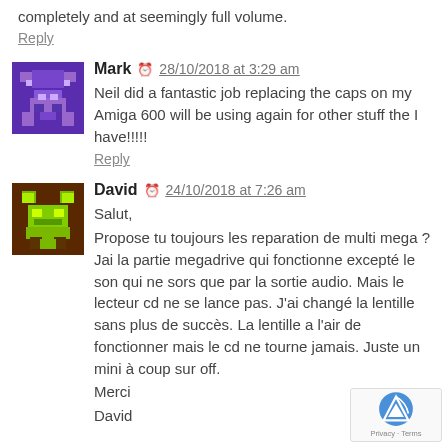completely and at seemingly full volume.
Reply
Mark  28/10/2018 at 3:29 am
Neil did a fantastic job replacing the caps on my Amiga 600 will be using again for other stuff the I have!!!!!
Reply
David  24/10/2018 at 7:26 am
Salut,
Propose tu toujours les reparation de multi mega ?
Jai la partie megadrive qui fonctionne excepté le son qui ne sors que par la sortie audio. Mais le lecteur cd ne se lance pas. J'ai changé la lentille sans plus de succès. La lentille a l'air de fonctionner mais le cd ne tourne jamais. Juste un mini à coup sur off.
Merci
David